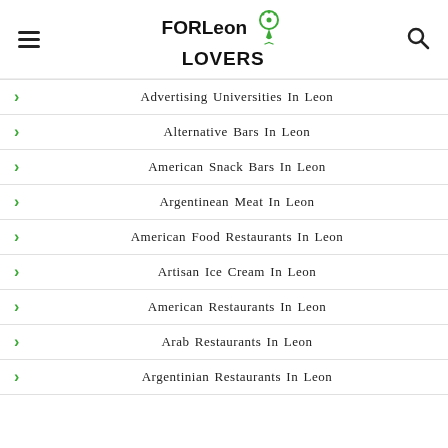FORLeon LOVERS
Advertising Universities In Leon
Alternative Bars In Leon
American Snack Bars In Leon
Argentinean Meat In Leon
American Food Restaurants In Leon
Artisan Ice Cream In Leon
American Restaurants In Leon
Arab Restaurants In Leon
Argentinian Restaurants In Leon